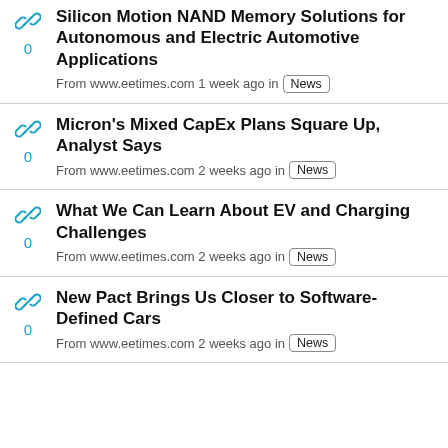Silicon Motion NAND Memory Solutions for Autonomous and Electric Automotive Applications — From www.eetimes.com 1 week ago in News
Micron's Mixed CapEx Plans Square Up, Analyst Says — From www.eetimes.com 2 weeks ago in News
What We Can Learn About EV and Charging Challenges — From www.eetimes.com 2 weeks ago in News
New Pact Brings Us Closer to Software-Defined Cars — From www.eetimes.com 2 weeks ago in News